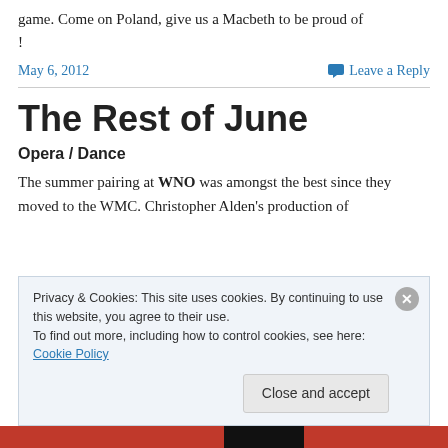game. Come on Poland, give us a Macbeth to be proud of!
May 6, 2012    Leave a Reply
The Rest of June
Opera / Dance
The summer pairing at WNO was amongst the best since they moved to the WMC. Christopher Alden's production of
Privacy & Cookies: This site uses cookies. By continuing to use this website, you agree to their use.
To find out more, including how to control cookies, see here: Cookie Policy
Close and accept